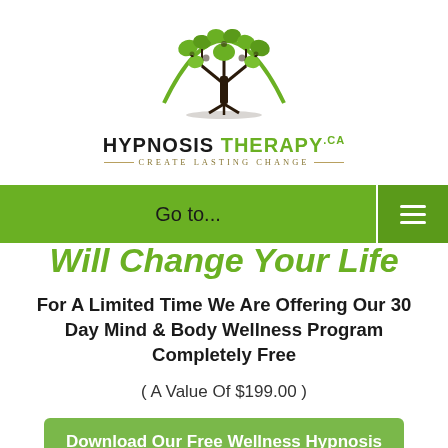[Figure (logo): Hypnosis Therapy.ca logo with tree illustration and tagline 'Create Lasting Change']
[Figure (screenshot): Green navigation bar with 'Go to...' text and hamburger menu icon]
Will Change Your Life
For A Limited Time We Are Offering Our 30 Day Mind & Body Wellness Program Completely Free
( A Value Of $199.00 )
Download Our Free Wellness Hypnosis